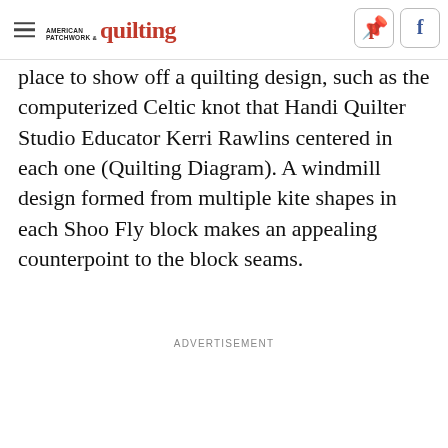American Patchwork & Quilting
place to show off a quilting design, such as the computerized Celtic knot that Handi Quilter Studio Educator Kerri Rawlins centered in each one (Quilting Diagram). A windmill design formed from multiple kite shapes in each Shoo Fly block makes an appealing counterpoint to the block seams.
ADVERTISEMENT